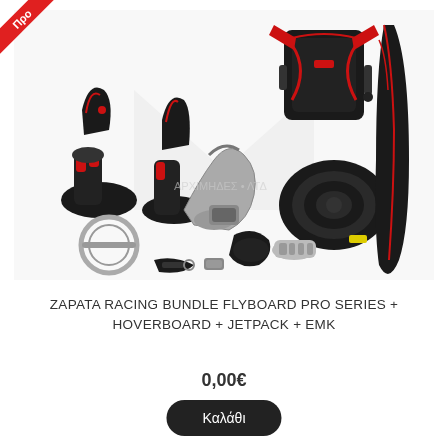[Figure (photo): Zapata Racing flyboard bundle product photo showing flyboard boots, hoverboard, jetpack harness, hose, connectors and accessories laid out on white background. Red banner with 'Προ' text in top left corner.]
ZAPATA RACING BUNDLE FLYBOARD PRO SERIES + HOVERBOARD + JETPACK + EMK
0,00€
Καλάθι